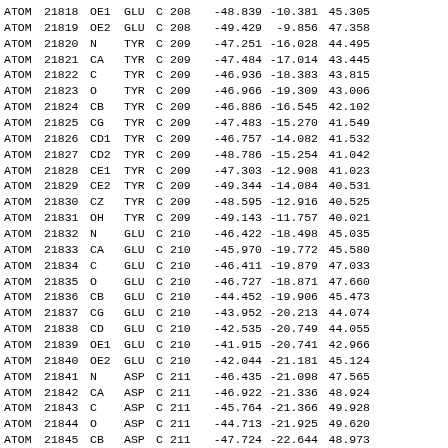| type | serial | name | res | chain | seq | x | y | z |
| --- | --- | --- | --- | --- | --- | --- | --- | --- |
| ATOM | 21818 | OE1 | GLU | C | 208 | -48.839 | -10.381 | 45.305 |
| ATOM | 21819 | OE2 | GLU | C | 208 | -49.429 |  -9.856 | 47.358 |
| ATOM | 21820 | N   | TYR | C | 209 | -47.251 | -16.028 | 44.495 |
| ATOM | 21821 | CA  | TYR | C | 209 | -47.484 | -17.014 | 43.445 |
| ATOM | 21822 | C   | TYR | C | 209 | -46.936 | -18.383 | 43.815 |
| ATOM | 21823 | O   | TYR | C | 209 | -46.966 | -19.309 | 43.006 |
| ATOM | 21824 | CB  | TYR | C | 209 | -46.886 | -16.545 | 42.102 |
| ATOM | 21825 | CG  | TYR | C | 209 | -47.483 | -15.270 | 41.549 |
| ATOM | 21826 | CD1 | TYR | C | 209 | -46.757 | -14.082 | 41.532 |
| ATOM | 21827 | CD2 | TYR | C | 209 | -48.786 | -15.254 | 41.042 |
| ATOM | 21828 | CE1 | TYR | C | 209 | -47.303 | -12.908 | 41.023 |
| ATOM | 21829 | CE2 | TYR | C | 209 | -49.344 | -14.084 | 40.531 |
| ATOM | 21830 | CZ  | TYR | C | 209 | -48.595 | -12.916 | 40.525 |
| ATOM | 21831 | OH  | TYR | C | 209 | -49.143 | -11.757 | 40.021 |
| ATOM | 21832 | N   | GLU | C | 210 | -46.422 | -18.498 | 45.035 |
| ATOM | 21833 | CA  | GLU | C | 210 | -45.970 | -19.772 | 45.580 |
| ATOM | 21834 | C   | GLU | C | 210 | -46.411 | -19.879 | 47.033 |
| ATOM | 21835 | O   | GLU | C | 210 | -46.727 | -18.871 | 47.660 |
| ATOM | 21836 | CB  | GLU | C | 210 | -44.452 | -19.906 | 45.473 |
| ATOM | 21837 | CG  | GLU | C | 210 | -43.952 | -20.213 | 44.074 |
| ATOM | 21838 | CD  | GLU | C | 210 | -42.535 | -20.749 | 44.055 |
| ATOM | 21839 | OE1 | GLU | C | 210 | -41.915 | -20.741 | 42.966 |
| ATOM | 21840 | OE2 | GLU | C | 210 | -42.044 | -21.181 | 45.124 |
| ATOM | 21841 | N   | ASP | C | 211 | -46.435 | -21.098 | 47.565 |
| ATOM | 21842 | CA  | ASP | C | 211 | -46.922 | -21.336 | 48.924 |
| ATOM | 21843 | C   | ASP | C | 211 | -45.764 | -21.366 | 49.928 |
| ATOM | 21844 | O   | ASP | C | 211 | -44.713 | -21.925 | 49.620 |
| ATOM | 21845 | CB  | ASP | C | 211 | -47.724 | -22.644 | 48.973 |
| ATOM | 21846 | CG  | ASP | C | 211 | -48.855 | -22.679 | 47.947 |
| ATOM | 21847 | OD1 | ASP | C | 211 | -49.764 | -21.824 | 48.023 |